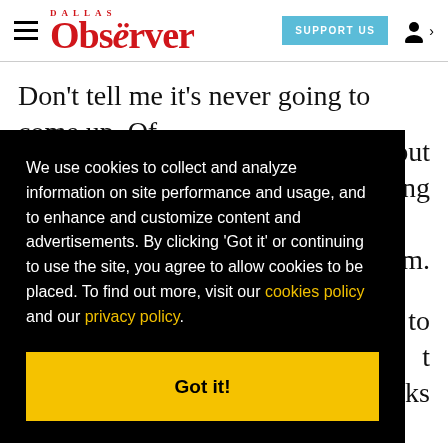Dallas Observer — SUPPORT US
Don't tell me it's never going to come up. Of
[Figure (infographic): Cookie consent overlay on black background with yellow 'Got it!' button. Text reads: 'We use cookies to collect and analyze information on site performance and usage, and to enhance and customize content and advertisements. By clicking Got it or continuing to use the site, you agree to allow cookies to be placed. To find out more, visit our cookies policy and our privacy policy.']
to
t
nks
for the economic depression."